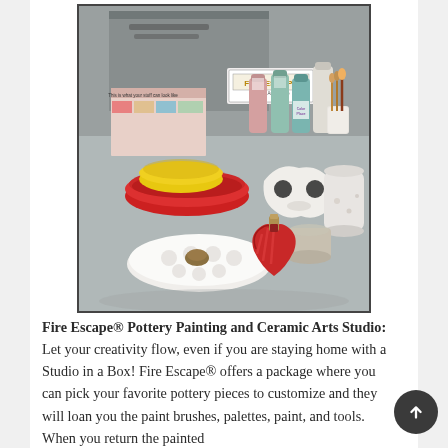[Figure (photo): A photo of a Fire Escape pottery painting studio-in-a-box setup on a metal table. Items include red and yellow mixing bowls, paint bottles in various colors, a white ceramic mask, a white ceramic jar, a heart-shaped bottle with a cork, a white palette dish, paint brushes in a vase, and colorful paint sample cards. A 'Fire Escape' sign is visible in the background.]
Fire Escape® Pottery Painting and Ceramic Arts Studio: Let your creativity flow, even if you are staying home with a Studio in a Box! Fire Escape® offers a package where you can pick your favorite pottery pieces to customize and they will loan you the paint brushes, palettes, paint, and tools. When you return the painted